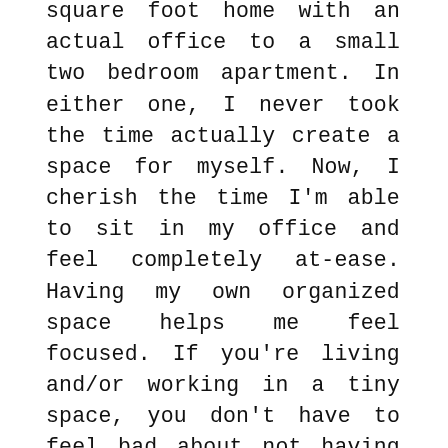square foot home with an actual office to a small two bedroom apartment. In either one, I never took the time actually create a space for myself. Now, I cherish the time I'm able to sit in my office and feel completely at-ease. Having my own organized space helps me feel focused. If you're living and/or working in a tiny space, you don't have to feel bad about not having a true office just ensure the space you're utilizing feels good.
In any business, being organized can make or break projects. I learned quickly